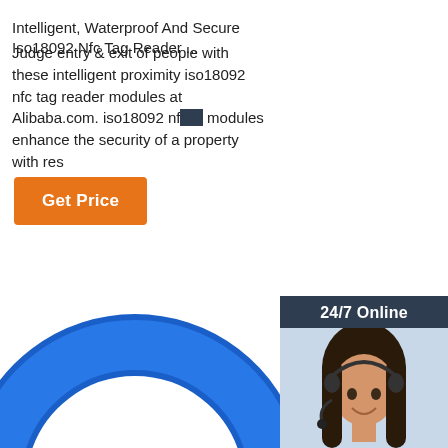Intelligent, Waterproof And Secure Iso18092 Nfc Tag Reader ...
Judge entry & exit of people with these intelligent proximity iso18092 nfc tag reader modules at Alibaba.com. iso18092 nfc tag reader modules enhance the security of a property with res...
Get Price
[Figure (photo): Chat widget showing a customer service representative with headset, dark background with '24/7 Online' header, 'Click here for free chat!' text, and orange QUOTATION button]
[Figure (logo): TOP logo with orange dots arranged in triangle above 'TOP' text in orange]
[Figure (photo): Blue NFC ring tag shown at bottom of page, partial view showing the curved top portion of a blue circular ring]